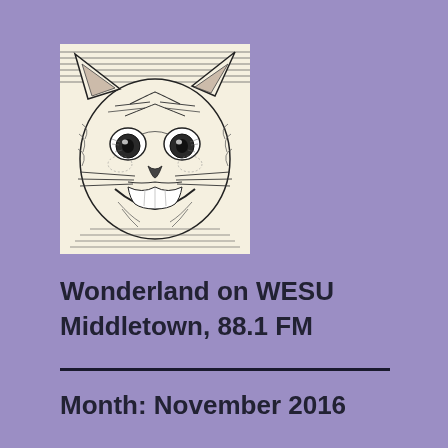[Figure (illustration): Black and white woodcut-style illustration of a Cheshire cat face with wide eyes and a broad grin, drawn in an engraving/etching style reminiscent of the original Alice in Wonderland illustrations.]
Wonderland on WESU
Middletown, 88.1 FM
Month: November 2016